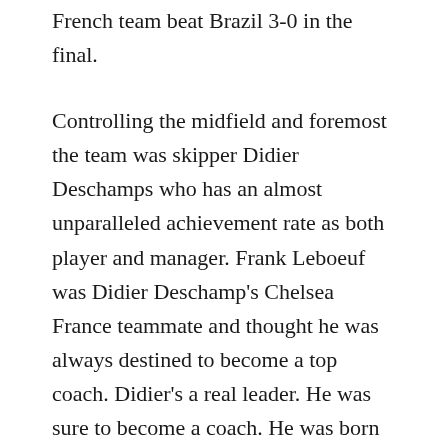French team beat Brazil 3-0 in the final.
Controlling the midfield and foremost the team was skipper Didier Deschamps who has an almost unparalleled achievement rate as both player and manager. Frank Leboeuf was Didier Deschamp's Chelsea France teammate and thought he was always destined to become a top coach. Didier's a real leader. He was sure to become a coach. He was born for that. He the whole thing hard. He touches the football, and he's also a bit blessed. He has all the aptitude to get another FIFA World Cup for the nationwide team.
Frank explained to Football Now. Any worldwide manager would undoubtedly feel a bit lucky to have the talent of Kylian Mbappe in their squad. At just 22 years...